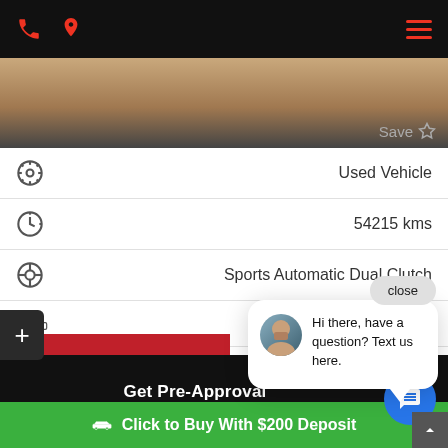[Figure (screenshot): Mobile car dealership website screenshot showing navigation bar with phone and location icons in red, vehicle specs list, chat popup, and action buttons]
Save
Used Vehicle
54215 kms
Sports Automatic Dual Clutch
SUV
close
Hi there, have a question? Text us here.
Get Pre-Approval
Click to Buy With $200 Deposit